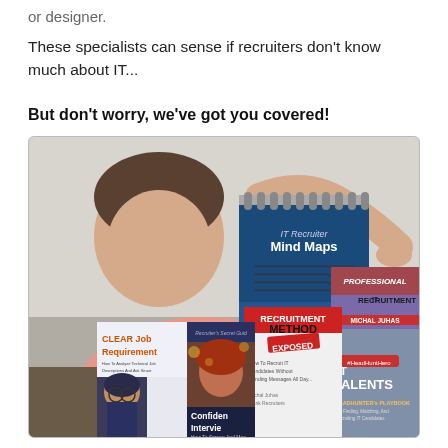of designer.
These specialists can sense if recruiters don't know much about IT...
But don't worry, we've got you covered!
[Figure (photo): A man in a pink shirt pointing at a collection of IT recruitment books and resources including 'IT Recruiter Mind Maps', 'Professional IT Recruitment by Michal Juhas', 'Recruitment Method Exposed', 'IT Talents Headhunter's Playbook', 'CLEAR Job Requirements', and 'Recruiter's Secret Guide Confident Interviews'.]